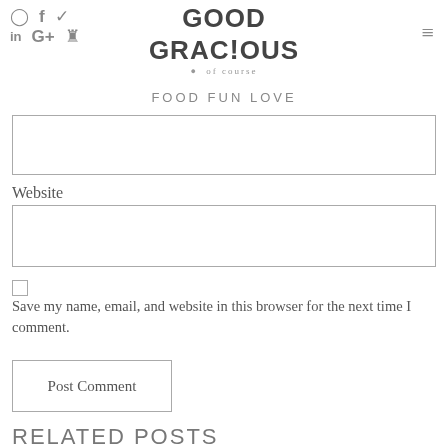[Figure (logo): Good Gracious of course logo with social media icons and hamburger menu]
FOOD FUN LOVE
[Figure (other): Empty input text field (partially visible at top)]
Website
[Figure (other): Empty Website input text field]
[Figure (other): Checkbox (unchecked)]
Save my name, email, and website in this browser for the next time I comment.
[Figure (other): Post Comment button]
RELATED POSTS